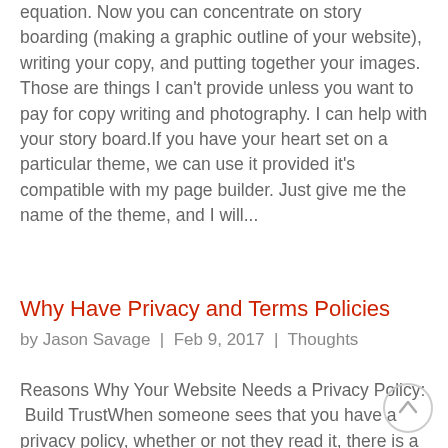equation. Now you can concentrate on story boarding (making a graphic outline of your website), writing your copy, and putting together your images. Those are things I can't provide unless you want to pay for copy writing and photography. I can help with your story board.If you have your heart set on a particular theme, we can use it provided it's compatible with my page builder. Just give me the name of the theme, and I will...
Why Have Privacy and Terms Policies
by Jason Savage  |  Feb 9, 2017  |  Thoughts
Reasons Why Your Website Needs a Privacy Policy:  Build TrustWhen someone sees that you have a privacy policy, whether or not they read it, there is a